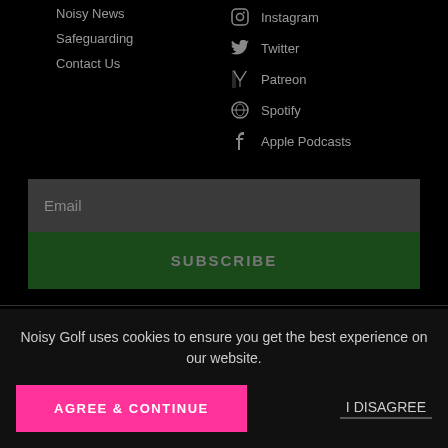Noisy News
Safeguarding
Contact Us
Instagram
Twitter
Patreon
Spotify
Apple Podcasts
Email
SUBSCRIBE
Noisy Golf uses cookies to ensure you get the best experience on our website.
AGREE & CONTINUE
I DISAGREE